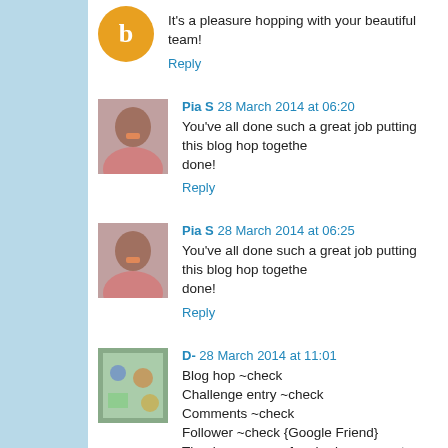It's a pleasure hopping with your beautiful team!
Reply
Pia S  28 March 2014 at 06:20
You've all done such a great job putting this blog hop together. Well done!
Reply
Pia S  28 March 2014 at 06:25
You've all done such a great job putting this blog hop together. Well done!
Reply
D-  28 March 2014 at 11:01
Blog hop ~check
Challenge entry ~check
Comments ~check
Follower ~check {Google Friend}
Thanks everyone for sharing your cute projects.
thanks Hide for the sweet freebie to play with